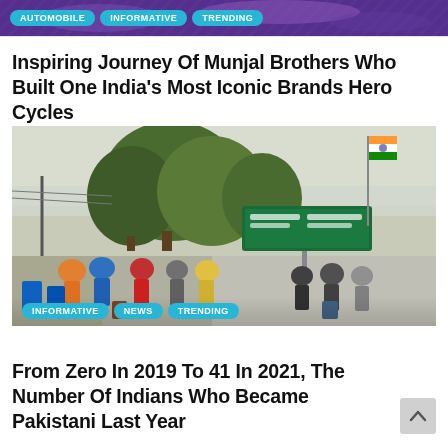[Figure (photo): Decorative top banner image with purple/violet tones, partially visible]
AUTOMOBILE   INFORMATIVE   TRENDING
Inspiring Journey Of Munjal Brothers Who Built One India's Most Iconic Brands Hero Cycles
[Figure (photo): Outdoor photo showing people walking on a road near the India-Pakistan border, with trees, a green highway sign, and an Indian flag visible in the background]
INFORMATIVE   NEWS   TRENDING
From Zero In 2019 To 41 In 2021, The Number Of Indians Who Became Pakistani Last Year